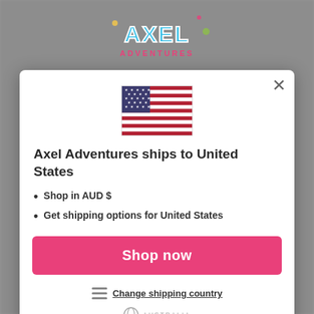[Figure (screenshot): Axel Adventures e-commerce website screenshot showing a modal popup for country/shipping selection. The modal shows a US flag, text 'Axel Adventures ships to United States', bullet points about AUD$ shopping and US shipping options, a pink 'Shop now' button, a 'Change shipping country' link, and a 'No, thanks' option. Background shows the Axel Adventures website with logo and watermark.]
Axel Adventures ships to United States
Shop in AUD $
Get shipping options for United States
Shop now
Change shipping country
No, thanks